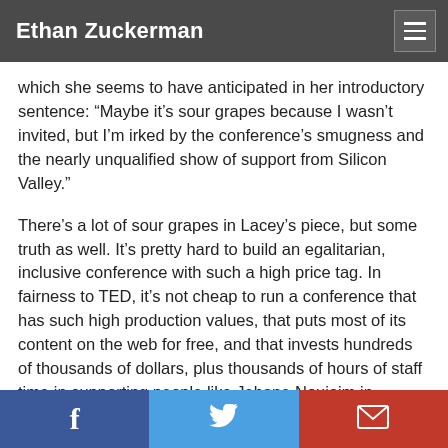Ethan Zuckerman
which she seems to have anticipated in her introductory sentence: “Maybe it’s sour grapes because I wasn’t invited, but I’m irked by the conference’s smugness and the nearly unqualified show of support from Silicon Valley.”
There’s a lot of sour grapes in Lacey’s piece, but some truth as well. It’s pretty hard to build an egalitarian, inclusive conference with such a high price tag. In fairness to TED, it’s not cheap to run a conference that has such high production values, that puts most of its content on the web for free, and that invests hundreds of thousands of dollars, plus thousands of hours of staff time in supporting people like Jehane Noujaim in launching Pangea Day or